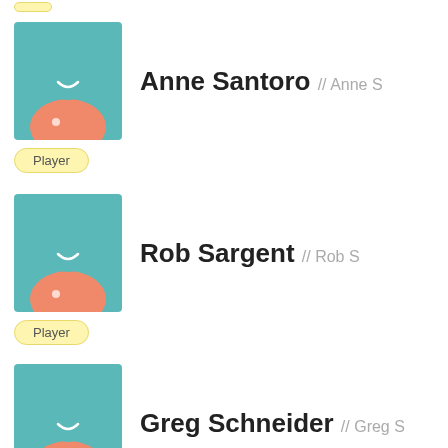[Figure (illustration): Partial yellow badge/tag visible at top of page, cropped]
Anne Santoro // Anne S - Player
Rob Sargent // Rob S - Player
Greg Schneider // Greg S - Player